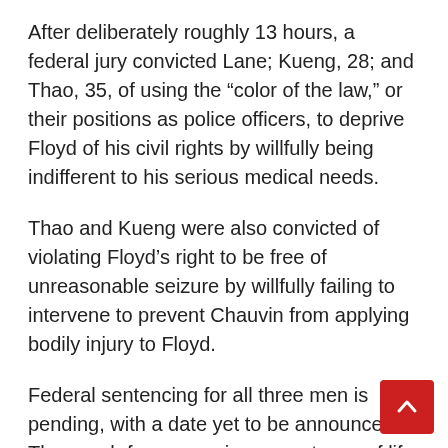After deliberately roughly 13 hours, a federal jury convicted Lane; Kueng, 28; and Thao, 35, of using the “color of the law,” or their positions as police officers, to deprive Floyd of his civil rights by willfully being indifferent to his serious medical needs.
Thao and Kueng were also convicted of violating Floyd’s right to be free of unreasonable seizure by willfully failing to intervene to prevent Chauvin from applying bodily injury to Floyd.
Federal sentencing for all three men is pending, with a date yet to be announced. They each face a maximum sentence of life in prison.